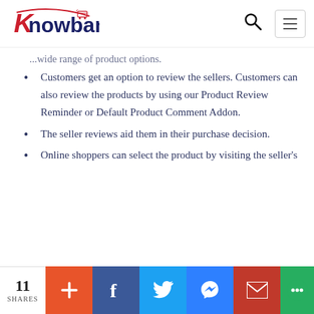Knowband logo, search icon, menu icon
...wide range of product options. (truncated)
Customers get an option to review the sellers. Customers can also review the products by using our Product Review Reminder or Default Product Comment Addon.
The seller reviews aid them in their purchase decision.
Online shoppers can select the product by visiting the seller's
11 SHARES | social share buttons: +, Facebook, Twitter, Messenger, Gmail, Chat